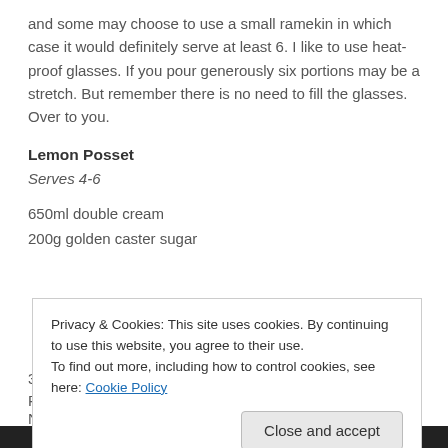and some may choose to use a small ramekin in which case it would definitely serve at least 6. I like to use heat-proof glasses. If you pour generously six portions may be a stretch. But remember there is no need to fill the glasses. Over to you.
Lemon Posset
Serves 4-6
650ml double cream
200g golden caster sugar
Privacy & Cookies: This site uses cookies. By continuing to use this website, you agree to their use.
To find out more, including how to control cookies, see here: Cookie Policy
Advertisements